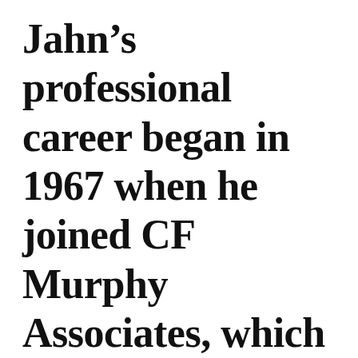Jahn's professional career began in 1967 when he joined CF Murphy Associates, which later became Murphy/Jahn. He worked on several major projects